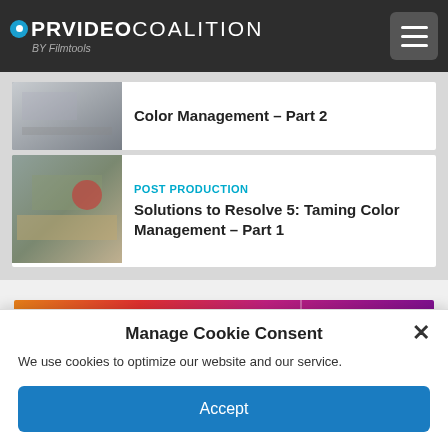PROVIDEO COALITION BY Filmtools
Color Management – Part 2
POST PRODUCTION
Solutions to Resolve 5: Taming Color Management – Part 1
[Figure (screenshot): Colorful banner image with large text letters ELO PI visible in magenta/red/orange gradient colors]
Manage Cookie Consent
We use cookies to optimize our website and our service.
Accept